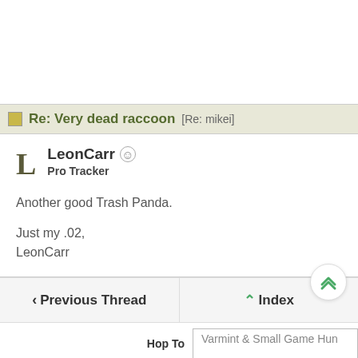Re: Very dead raccoon [Re: mikei]
LeonCarr
Pro Tracker
Another good Trash Panda.

Just my .02,
LeonCarr
< Previous Thread   ^ Index
Hop To   Varmint & Small Game Hun